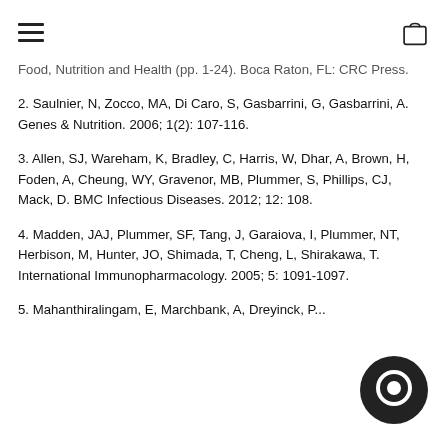[hamburger menu] [shopping bag icon]
Food, Nutrition and Health (pp. 1-24). Boca Raton, FL: CRC Press.
2. Saulnier, N, Zocco, MA, Di Caro, S, Gasbarrini, G, Gasbarrini, A. Genes & Nutrition. 2006; 1(2): 107-116.
3. Allen, SJ, Wareham, K, Bradley, C, Harris, W, Dhar, A, Brown, H, Foden, A, Cheung, WY, Gravenor, MB, Plummer, S, Phillips, CJ, Mack, D. BMC Infectious Diseases. 2012; 12: 108.
4. Madden, JAJ, Plummer, SF, Tang, J, Garaiova, I, Plummer, NT, Herbison, M, Hunter, JO, Shimada, T, Cheng, L, Shirakawa, T. International Immunopharmacology. 2005; 5: 1091-1097.
5. Mahanthiralingam, E, Marchbank, A, Dreyinck, P...